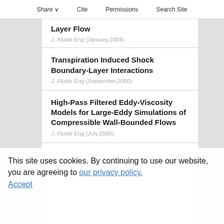Share  Cite  Permissions  Search Site
Layer Flow
J. Fluids Eng (January,2004)
Transpiration Induced Shock Boundary-Layer Interactions
J. Fluids Eng (September,2006)
High-Pass Filtered Eddy-Viscosity Models for Large-Eddy Simulations of Compressible Wall-Bounded Flows
J. Fluids Eng (July,2005)
The Effects of a Tip Wire and Unsteadiness on a High-Speed Highly Loaded Low-Pressure Turbine Blade
J. Turbomach (October,2005)
This site uses cookies. By continuing to use our website, you are agreeing to our privacy policy.
Accept